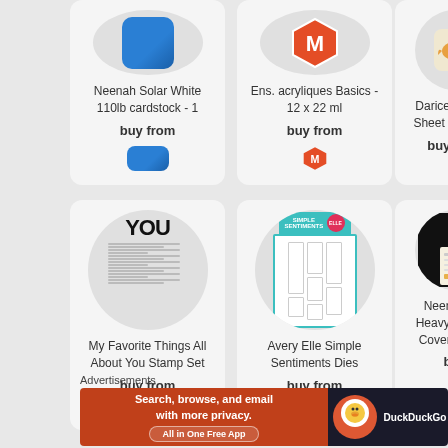[Figure (screenshot): Product card: Neenah Solar White 110lb cardstock - 1, buy from (blue square icon)]
Neenah Solar White 110lb cardstock - 1
buy from
[Figure (screenshot): Product card: Ens. acryliques Basics - 12 x 22 ml, buy from (Magento icon)]
Ens. acryliques Basics - 12 x 22 ml
buy from
[Figure (screenshot): Product card: Darice White F Sheet - 9" x 12", buy from (fish icon - partially cropped)]
Darice White F Sheet - 9" x 12"
buy from
[Figure (screenshot): Product card: My Favorite Things All About You Stamp Set, buy from]
My Favorite Things All About You Stamp Set
buy from
[Figure (screenshot): Product card: Avery Elle Simple Sentiments Dies, buy from]
Avery Elle Simple Sentiments Dies
buy from
[Figure (screenshot): Product card: Neenah Bla Heavyweight 1 Cover Card S (partially cropped), buy]
Neenah Bla Heavyweight 1 Cover Card S
buy
Advertisements
[Figure (screenshot): DuckDuckGo advertisement banner: Search, browse, and email with more privacy. All in One Free App. DuckDuckGo logo on dark background.]